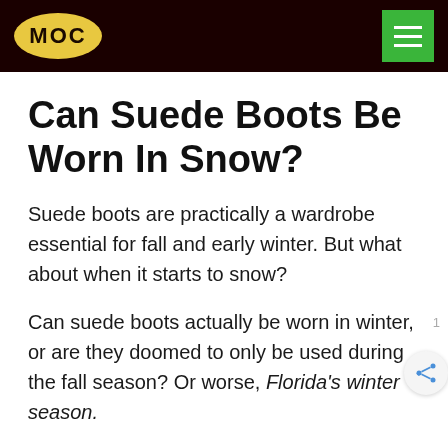MOC
Can Suede Boots Be Worn In Snow?
Suede boots are practically a wardrobe essential for fall and early winter. But what about when it starts to snow?
Can suede boots actually be worn in winter, or are they doomed to only be used during the fall season? Or worse, Florida’s winter season.